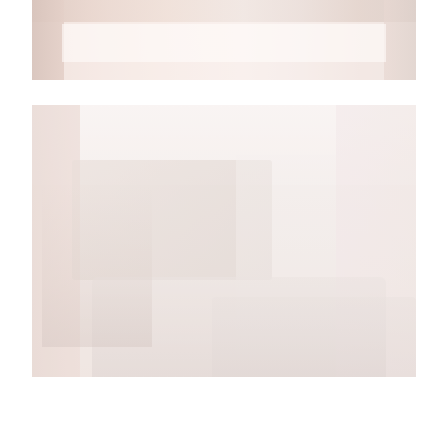[Figure (photo): Faded/washed-out photo of an interior room, possibly a bedroom or hallway with light-colored walls and architectural elements, highly overexposed]
[Figure (photo): Faded/washed-out photo of a living room interior with people, furniture including a sofa and coffee table, TV or monitor on wall, and various home furnishings, highly overexposed]